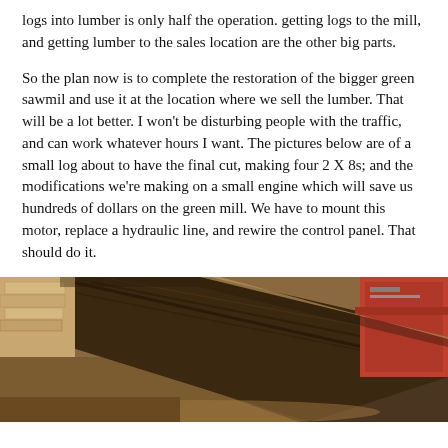logs into lumber is only half the operation. getting logs to the mill, and getting lumber to the sales location are the other big parts.
So the plan now is to complete the restoration of the bigger green sawmil and use it at the location where we sell the lumber. That will be a lot better. I won't be disturbing people with the traffic, and can work whatever hours I want. The pictures below are of a small log about to have the final cut, making four 2 X 8s; and the modifications we're making on a small engine which will save us hundreds of dollars on the green mill. We have to mount this motor, replace a hydraulic line, and rewire the control panel. That should do it.
[Figure (photo): Close-up photograph of a rough-cut log on a sawmill, showing the bark and cut surfaces. Stacked lumber visible in the background on the left, and red/orange mill equipment on the right.]